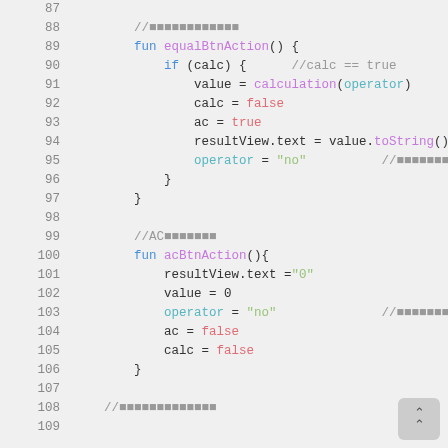[Figure (screenshot): Source code screenshot showing Kotlin code lines 87-109, with syntax highlighting. Contains equalBtnAction() and acBtnAction() function definitions with colored keywords, operators, strings, and comments.]